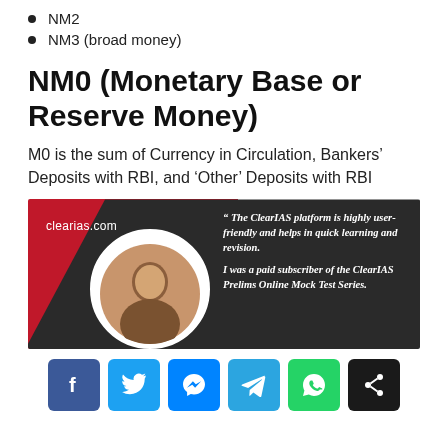NM2
NM3 (broad money)
NM0 (Monetary Base or Reserve Money)
M0 is the sum of Currency in Circulation, Bankers’ Deposits with RBI, and ‘Other’ Deposits with RBI
[Figure (photo): ClearIAS promotional banner with a photo of a person in a white circle frame on a red and dark background. Text reads: clearias.com. Quote: “ The ClearIAS platform is highly user-friendly and helps in quick learning and revision. I was a paid subscriber of the ClearIAS Prelims Online Mock Test Series.”]
[Figure (infographic): Social media sharing buttons: Facebook (blue), Twitter (light blue), Messenger (blue), Telegram (blue), WhatsApp (green), Share (black)]